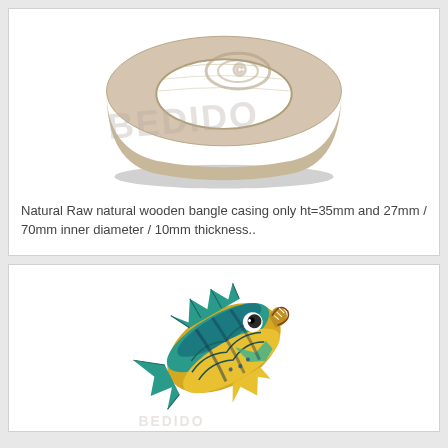[Figure (photo): A natural raw wooden bangle ring casing, pale beige/tan wood color with a carved circular pattern on top and a watermark text 'BEDIDO' overlaid on the image. The bangle is photographed from a slightly elevated angle showing its thick ring shape with a drop shadow.]
Natural Raw natural wooden bangle casing only ht=35mm and 27mm / 70mm inner diameter / 10mm thickness..
[Figure (photo): A colorful decorative fish figurine or clip, painted in vivid teal, blue, yellow and dark colors. The fish has a white eye with black pupil, detailed fin and scale markings, and a wide open mouth. It appears to be a painted wood or resin craft item.]